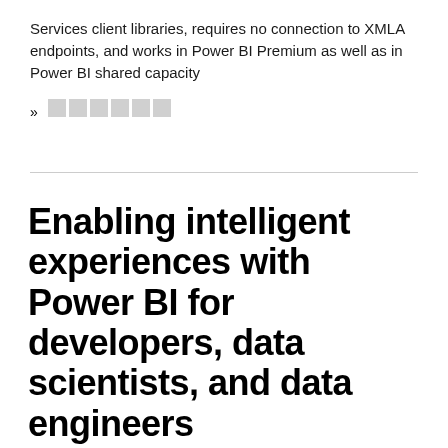Services client libraries, requires no connection to XMLA endpoints, and works in Power BI Premium as well as in Power BI shared capacity
» □□□□□□
Enabling intelligent experiences with Power BI for developers, data scientists, and data engineers
Announcements
Power BI